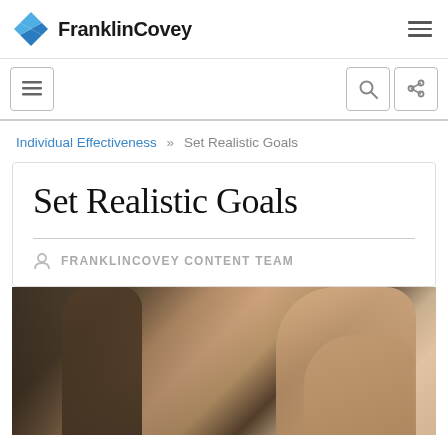FranklinCovey
Individual Effectiveness » Set Realistic Goals
Set Realistic Goals
FRANKLINCOVEY CONTENT TEAM
[Figure (photo): A tattooed hand holding an object, photographed in dark ambient lighting]